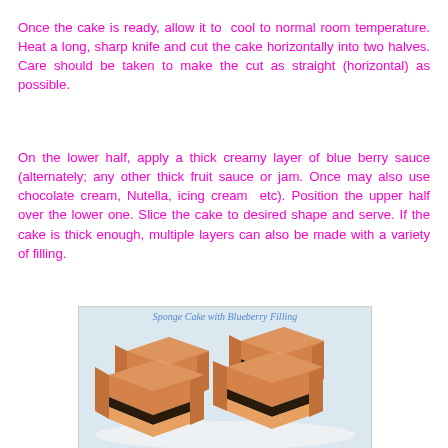Once the cake is ready, allow it to cool to normal room temperature. Heat a long, sharp knife and cut the cake horizontally into two halves. Care should be taken to make the cut as straight (horizontal) as possible.
On the lower half, apply a thick creamy layer of blue berry sauce (alternately; any other thick fruit sauce or jam. Once may also use chocolate cream, Nutella, icing cream etc). Position the upper half over the lower one. Slice the cake to desired shape and serve. If the cake is thick enough, multiple layers can also be made with a variety of filling.
[Figure (photo): Photo of sliced sponge cake pieces with blueberry filling visible between layers, arranged on a white plate. Caption reads 'Sponge Cake with Blueberry Filling'.]